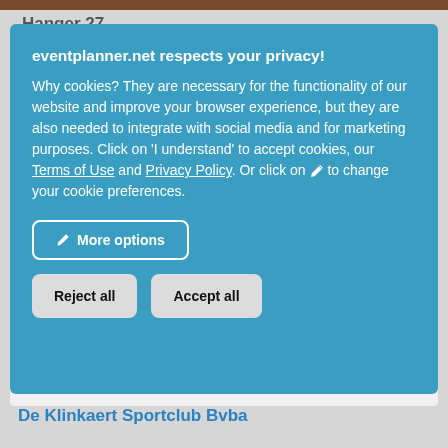Hanger 27
eventplanner.net respects your privacy! Why cookies? They are necessary for the functionality of our website and improve your browser experience, but they are also needed to integrate with social media and for marketing purposes. Click on 'I understand' to accept cookies, our Terms of Use and Privacy Policy. Or click on [pencil] to change your cookie preferences.
More options
Reject all
Accept all
De Klinkaert Sportclub Bvba